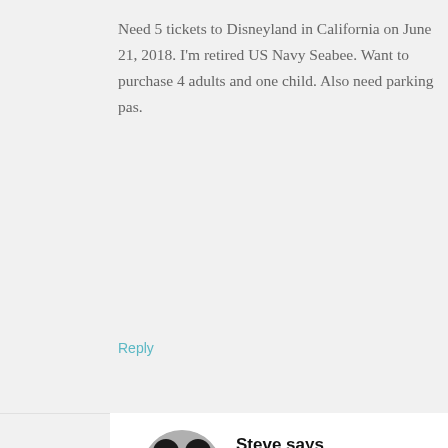Need 5 tickets to Disneyland in California on June 21, 2018. I'm retired US Navy Seabee. Want to purchase 4 adults and one child. Also need parking pas.
Reply
Steve says
17 DECEMBER 2017 AT 18:28
Great, Shades of Green sells Florida tickets...
See this post:
http://www.militarydisneytips.com/blog/disney-